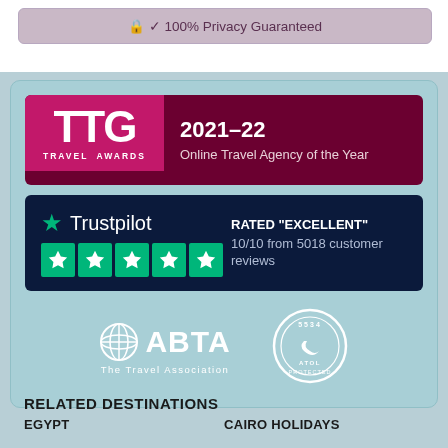🔒 ✓ 100% Privacy Guaranteed
[Figure (logo): TTG Travel Awards logo — pink/magenta background with white TTG text, 2021-22 Online Travel Agency of the Year award, dark maroon background panel]
[Figure (logo): Trustpilot logo with 5 green stars on dark navy background, rated Excellent 10/10 from 5018 customer reviews]
[Figure (logo): ABTA The Travel Association logo and ATOL Protected circular badge, white on teal background]
RELATED DESTINATIONS
EGYPT
CAIRO HOLIDAYS